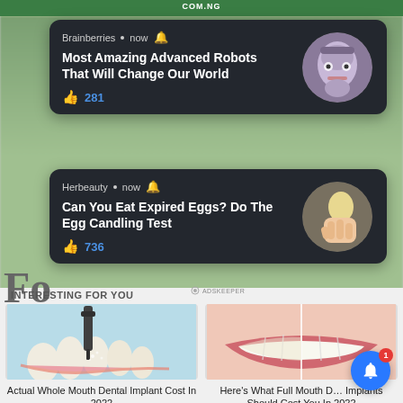COM.NG
Brainberries • now 🔔
Most Amazing Advanced Robots That Will Change Our World
👍 281
Herbeauty • now 🔔
Can You Eat Expired Eggs? Do The Egg Candling Test
👍 736
INTERESTING FOR YOU
Actual Whole Mouth Dental Implant Cost In 2022
Here's What Full Mouth Dental Implants Should Cost You In 2022